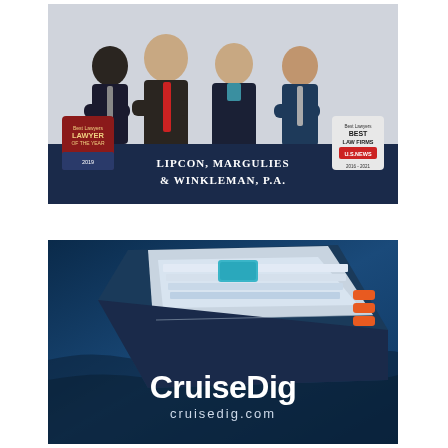[Figure (photo): Advertisement for Lipcon, Margulies & Winkleman, P.A. law firm. Shows four lawyers (three men, one woman) in business attire against a navy blue background. Bottom panel reads 'Lipcon, Margulies & Winkleman, P.A.' with Best Lawyers awards badges on both sides.]
[Figure (photo): Advertisement for CruiseDig showing an aerial view of a large cruise ship on blue ocean water. White text overlay reads 'CruiseDig' in large bold letters and 'cruisedig.com' below it.]